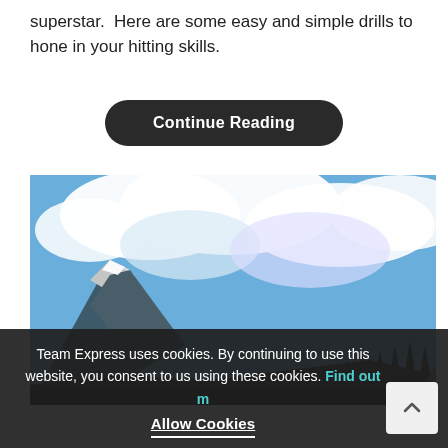superstar.  Here are some easy and simple drills to hone in your hitting skills.
Continue Reading
[Figure (photo): Mountain landscape with snow-capped peaks, evergreen trees, and a dramatic blue sky with white clouds.]
Team Express uses cookies. By continuing to use this website, you consent to us using these cookies. Find out more
Allow Cookies